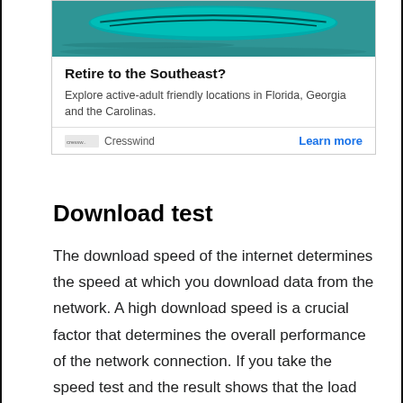[Figure (photo): Partial advertisement card showing a teal/turquoise kayak on water at the top, with bold title 'Retire to the Southeast?', description text about active-adult friendly locations in Florida, Georgia and the Carolinas, Cresswind branding, and a 'Learn more' link.]
Download test
The download speed of the internet determines the speed at which you download data from the network. A high download speed is a crucial factor that determines the overall performance of the network connection. If you take the speed test and the result shows that the load speed is slow to support gaming, streaming movies or series, or working on complex